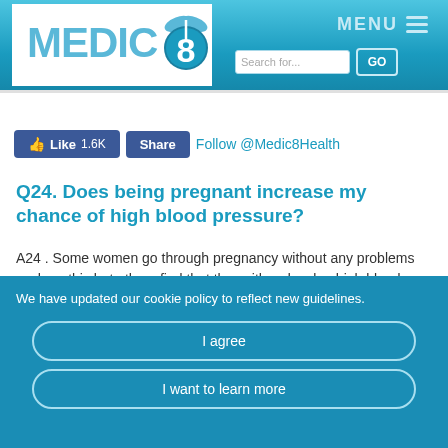[Figure (logo): Medic8 website header with logo, search bar, and menu button]
[Figure (screenshot): Facebook Like (1.6K) and Share buttons, and Follow @Medic8Health link]
Q24. Does being pregnant increase my chance of high blood pressure?
A24 . Some women go through pregnancy without any problems such as this but others find that they either develop high blood pressure before they become pregnant (gestational hypertension) or after the twentieth week of their pregnancy.
We have updated our cookie policy to reflect new guidelines.
I agree
I want to learn more